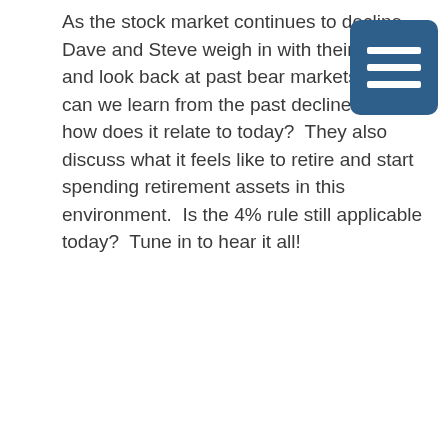As the stock market continues to decline, Dave and Steve weigh in with their thoughts and look back at past bear markets.  What can we learn from the past declines and how does it relate to today?  They also discuss what it feels like to retire and start spending retirement assets in this environment.  Is the 4% rule still applicable today?  Tune in to hear it all!
[Figure (other): Hamburger menu icon — three white horizontal bars on a dark blue rounded rectangle background]